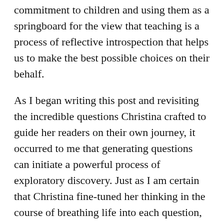commitment to children and using them as a springboard for the view that teaching is a process of reflective introspection that helps us to make the best possible choices on their behalf.
As I began writing this post and revisiting the incredible questions Christina crafted to guide her readers on their own journey, it occurred to me that generating questions can initiate a powerful process of exploratory discovery. Just as I am certain that Christina fine-tuned her thinking in the course of breathing life into each question, we too could do the same. Just imagine if teachers created a growing list of BURNING questions, using those questions as the gentle nudge that can lead to a “continual learning journey to be the kind of reading teacher who values your own learning because you know your students’ learning